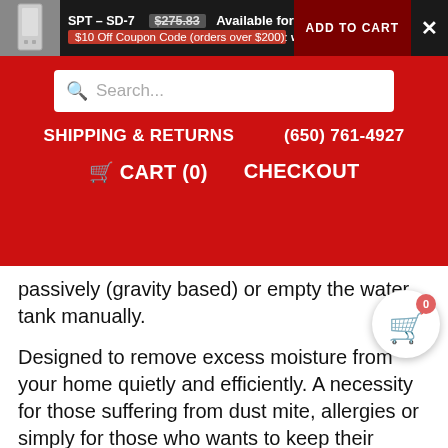Available for the First 10 Users Today  SPT – SD-7  $275.83  ADD TO CART  $10 Off Coupon Code (orders over $200): winecity
[Figure (screenshot): Red navigation bar with search box, SHIPPING & RETURNS, (650) 761-4927, CART (0), CHECKOUT links]
passively (gravity based) or empty the water tank manually.
Designed to remove excess moisture from your home quietly and efficiently. A necessity for those suffering from dust mite, allergies or simply for those who wants to keep their indoor humidity at a comfortable level. Air that is too damp can cause itchy skin and nasal passages, condensation on windows, water